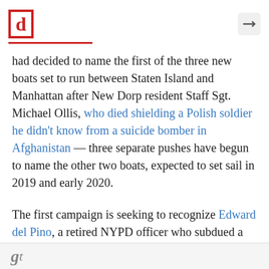[d] (Daily News logo with share icon)
had decided to name the first of the three new boats set to run between Staten Island and Manhattan after New Dorp resident Staff Sgt. Michael Ollis, who died shielding a Polish soldier he didn't know from a suicide bomber in Afghanistan — three separate pushes have begun to name the other two boats, expected to set sail in 2019 and early 2020.
The first campaign is seeking to recognize Edward del Pino, a retired NYPD officer who subdued a crazed man who killed two on a murderous rampage aboard the ferry in 1986.